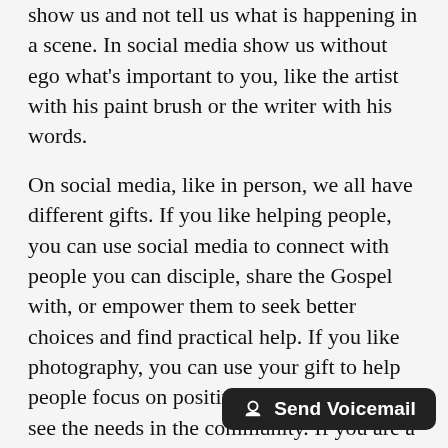show us and not tell us what is happening in a scene. In social media show us without ego what's important to you, like the artist with his paint brush or the writer with his words.
On social media, like in person, we all have different gifts. If you like helping people, you can use social media to connect with people you can disciple, share the Gospel with, or empower them to seek better choices and find practical help. If you like photography, you can use your gift to help people focus on positive things or help them see the needs in the community. If you are a writer, you can use your words and visuals to tell a story that may help clarify your friends' or followers' thoughts. If you are an artist, it's more than a platform to share your work, but a place to invite people into your paintings and photography. Most importantly, as a Christian, it's a place to ask good questions that let other people